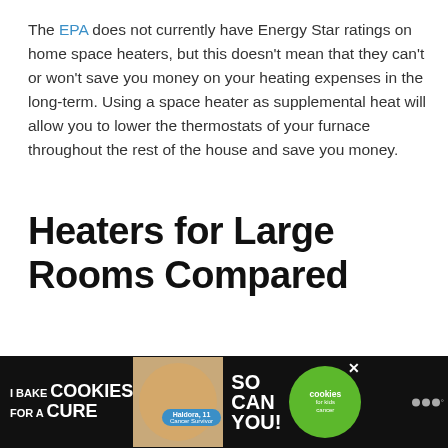The EPA does not currently have Energy Star ratings on home space heaters, but this doesn't mean that they can't or won't save you money on your heating expenses in the long-term. Using a space heater as supplemental heat will allow you to lower the thermostats of your furnace throughout the rest of the house and save you money.
Heaters for Large Rooms Compared
| Image |  |
| --- | --- |
| Image |  |
[Figure (other): Advertisement banner: I Bake COOKIES For A CURE - Haldora, 11 Cancer Survivor - So can you! - cookies for kids cancer logo]